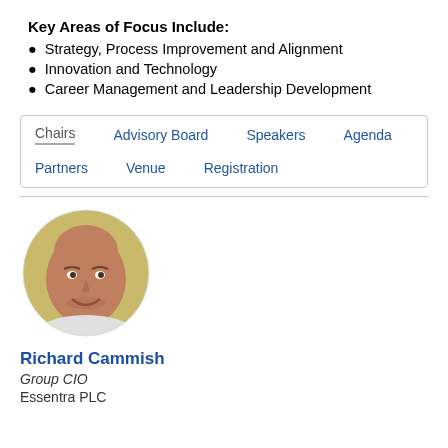Key Areas of Focus Include:
Strategy, Process Improvement and Alignment
Innovation and Technology
Career Management and Leadership Development
Chairs | Advisory Board | Speakers | Agenda | Partners | Venue | Registration
[Figure (photo): Circular headshot photo of Richard Cammish, a bald smiling man, against a blurred outdoor background]
Richard Cammish
Group CIO
Essentra PLC